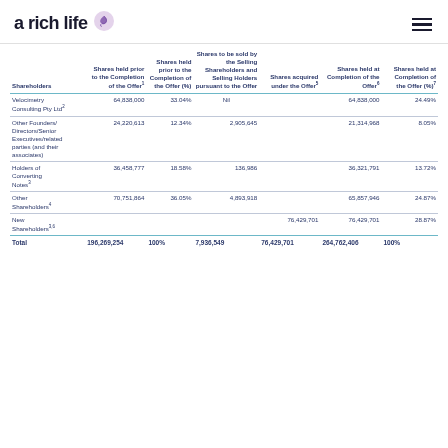a rich life
| Shareholders | Shares held prior to the Completion of the Offer¹ | Shares held prior to the Completion of the Offer (%) | Shares to be sold by the Selling Shareholders and Selling Holders pursuant to the Offer | Shares acquired under the Offer⁵ | Shares held at Completion of the Offer⁶ | Shares held at Completion of the Offer (%)⁷ |
| --- | --- | --- | --- | --- | --- | --- |
| Velocimetry Consulting Pty Ltd² | 64,838,000 | 33.04% | Nil |  | 64,838,000 | 24.49% |
| Other Founders/Directors/Senior Executives/related parties (and their associates) | 24,220,613 | 12.34% | 2,905,645 |  | 21,314,968 | 8.05% |
| Holders of Converting Notes³ | 36,458,777 | 18.58% | 136,986 |  | 36,321,791 | 13.72% |
| Other Shareholders⁴ | 70,751,864 | 36.05% | 4,893,918 |  | 65,857,946 | 24.87% |
| New Shareholders³,⁶ |  |  |  | 76,429,701 | 76,429,701 | 28.87% |
| Total | 196,269,254 | 100% | 7,936,549 | 76,429,701 | 264,762,406 | 100% |